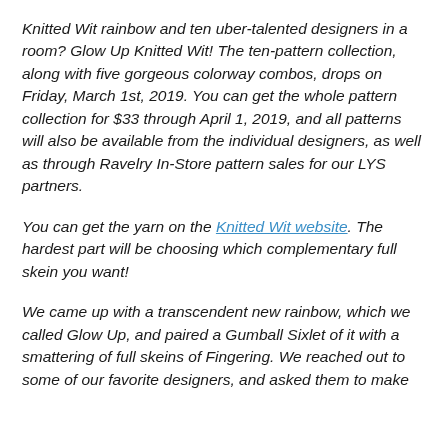Knitted Wit rainbow and ten uber-talented designers in a room? Glow Up Knitted Wit! The ten-pattern collection, along with five gorgeous colorway combos, drops on Friday, March 1st, 2019. You can get the whole pattern collection for $33 through April 1, 2019, and all patterns will also be available from the individual designers, as well as through Ravelry In-Store pattern sales for our LYS partners.
You can get the yarn on the Knitted Wit website. The hardest part will be choosing which complementary full skein you want!
We came up with a transcendent new rainbow, which we called Glow Up, and paired a Gumball Sixlet of it with a smattering of full skeins of Fingering. We reached out to some of our favorite designers, and asked them to make